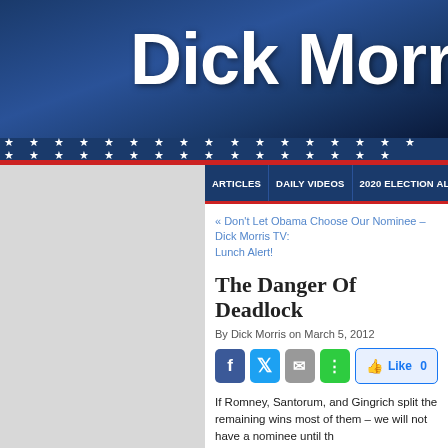Dick Morris
ARTICLES | DAILY VIDEOS | 2020 ELECTION ALERT | 50 SHADES
« Don't Let Obama Choose Our Nominee – Dick Morris TV: Lunch Alert!
The Danger Of Deadlock
By Dick Morris on March 5, 2012
If Romney, Santorum, and Gingrich split the remaining wins most of them – we will not have a nominee until th